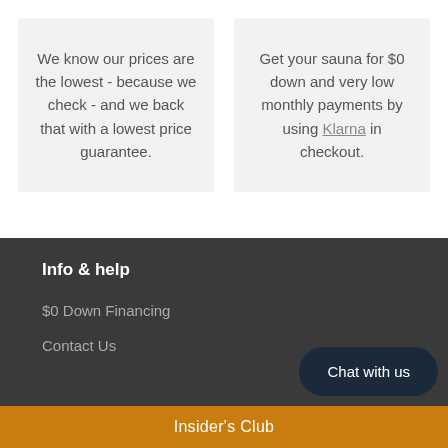We know our prices are the lowest - because we check - and we back that with a lowest price guarantee.
Get your sauna for $0 down and very low monthly payments by using Klarna in checkout.
Info & help
$0 Down Financing
Contact Us
Chat with us
Insider's Club